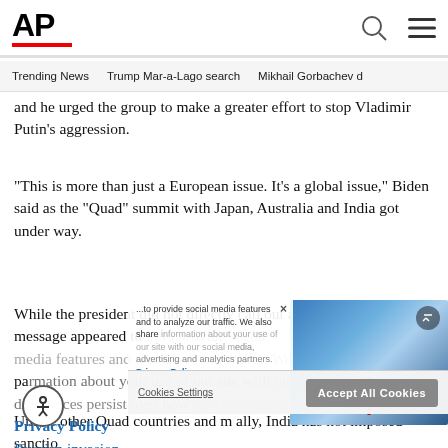AP
Trending News  Trump Mar-a-Lago search  Mikhail Gorbachev d
and he urged the group to make a greater effort to stop Vladimir Putin’s aggression.
“This is more than just a European issue. It’s a global issue,” Biden said as the “Quad” summit with Japan, Australia and India got under way.
While the president did not directly call out any countries, his message appeared to... differences persist over how... Russian invasion.
Unlike other Quad countries and m ally, India has not imposed sanctio